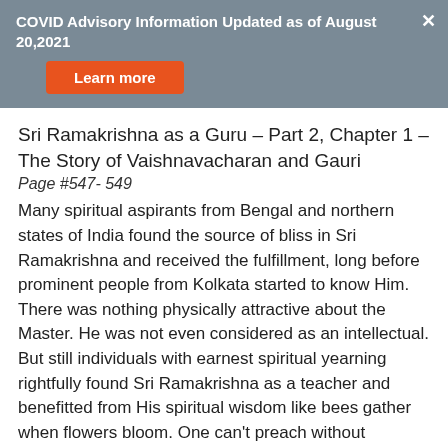COVID Advisory Information Updated as of August 20,2021
Sri Ramakrishna as a Guru – Part 2, Chapter 1 – The Story of Vaishnavacharan and Gauri
Page #547- 549
Many spiritual aspirants from Bengal and northern states of India found the source of bliss in Sri Ramakrishna and received the fulfillment, long before prominent people from Kolkata started to know Him.
There was nothing physically attractive about the Master. He was not even considered as an intellectual. But still individuals with earnest spiritual yearning rightfully found Sri Ramakrishna as a teacher and benefitted from His spiritual wisdom like bees gather when flowers bloom. One can't preach without appropriate authority. One must have God realization before imparting spiritual wisdom. Spiritual wisdom is not related to worldly